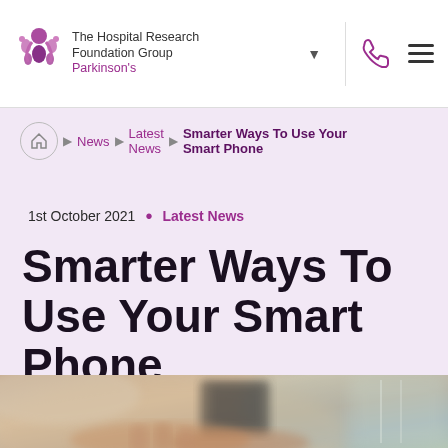The Hospital Research Foundation Group Parkinson's
1st October 2021 • Latest News
Smarter Ways To Use Your Smart Phone
[Figure (photo): Close-up photo of hands holding and using a smartphone, blurred background with warm and cool tones]